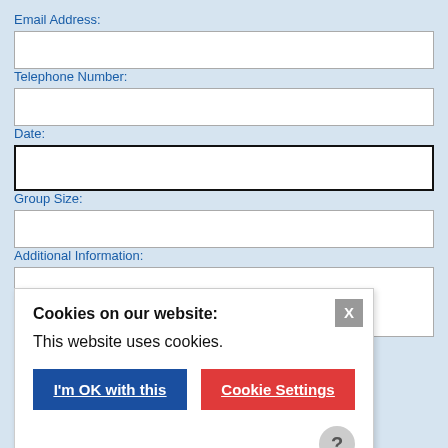Email Address:
Telephone Number:
Date:
Group Size:
Additional Information:
Cookies on our website:
This website uses cookies.
[I'm OK with this] [Cookie Settings] [X] [?]
Or Call Us